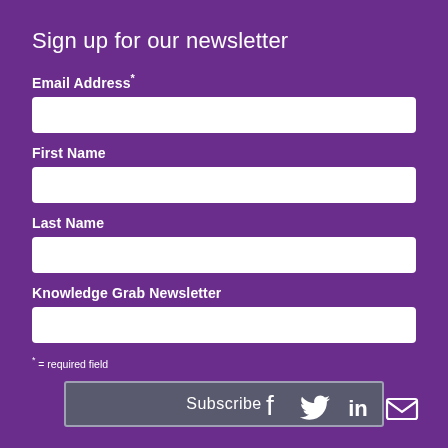Sign up for our newsletter
Email Address*
First Name
Last Name
Knowledge Grab Newsletter
* = required field
Subscribe
[Figure (illustration): Social media icons: Facebook, Twitter, LinkedIn, Email]